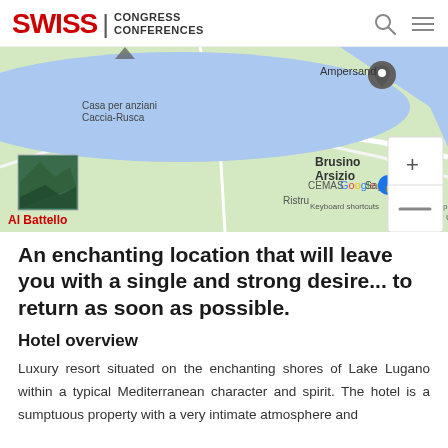SWISS / CONGRESS CONFERENCES
[Figure (map): Google Maps view showing Lake Lugano area with labels: Ampersand (location pin), Casa per anziani Caccia-Rusca, Brusino Arsizio, CEMAS Sagl, Ristru, Al Battello (red, with thumbnail photo), Google logo, Keyboard shortcuts, Map data ©2022, Terms of Use. Map has zoom controls (+ and -) on the right.]
An enchanting location that will leave you with a single and strong desire... to return as soon as possible.
Hotel overview
Luxury resort situated on the enchanting shores of Lake Lugano within a typical Mediterranean character and spirit. The hotel is a sumptuous property with a very intimate atmosphere and